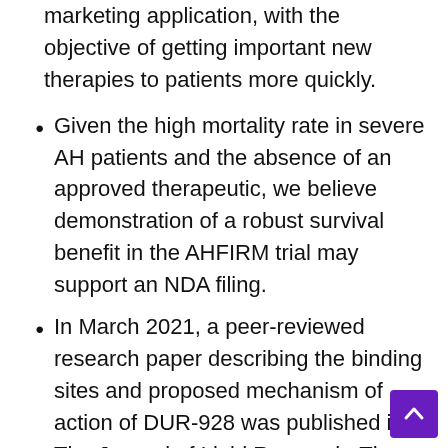marketing application, with the objective of getting important new therapies to patients more quickly.
Given the high mortality rate in severe AH patients and the absence of an approved therapeutic, we believe demonstration of a robust survival benefit in the AHFIRM trial may support an NDA filing.
In March 2021, a peer-reviewed research paper describing the binding sites and proposed mechanism of action of DUR-928 was published in The Journal of Lipid Research. The publication shows that DUR-928 (referred to in the paper as 25HC3S) binds to and inhibits the activity of DNA methyltransferases (DNMTs), DNMT-1, 3a and